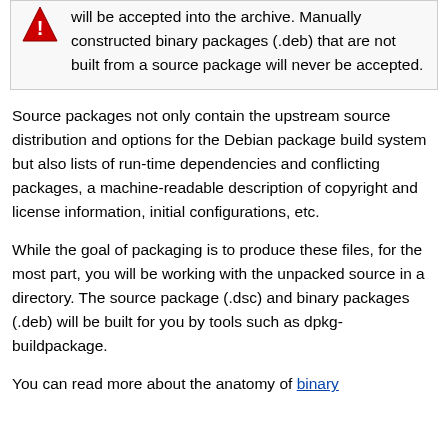will be accepted into the archive. Manually constructed binary packages (.deb) that are not built from a source package will never be accepted.
Source packages not only contain the upstream source distribution and options for the Debian package build system but also lists of run-time dependencies and conflicting packages, a machine-readable description of copyright and license information, initial configurations, etc.
While the goal of packaging is to produce these files, for the most part, you will be working with the unpacked source in a directory. The source package (.dsc) and binary packages (.deb) will be built for you by tools such as dpkg-buildpackage.
You can read more about the anatomy of binary